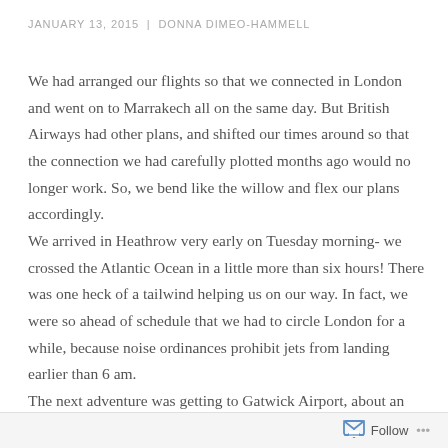JANUARY 13, 2015  |  DONNA DIMEO-HAMMELL
We had arranged our flights so that we connected in London and went on to Marrakech all on the same day. But British Airways had other plans, and shifted our times around so that the connection we had carefully plotted months ago would no longer work. So, we bend like the willow and flex our plans accordingly.
We arrived in Heathrow very early on Tuesday morning- we crossed the Atlantic Ocean in a little more than six hours! There was one heck of a tailwind helping us on our way. In fact, we were so ahead of schedule that we had to circle London for a while, because noise ordinances prohibit jets from landing earlier than 6 am.
The next adventure was getting to Gatwick Airport, about an hour away. We had done our homework online, and
Follow